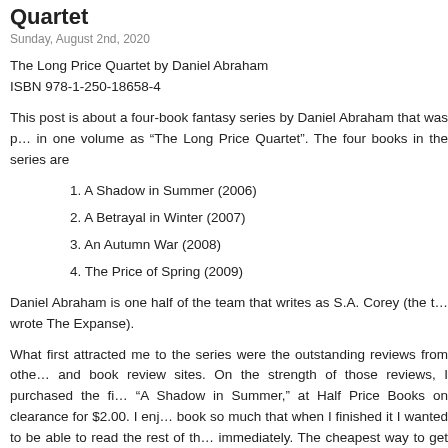Quartet
Sunday, August 2nd, 2020
The Long Price Quartet by Daniel Abraham
ISBN 978-1-250-18658-4
This post is about a four-book fantasy series by Daniel Abraham that was published in one volume as “The Long Price Quartet”. The four books in the series are
1. A Shadow in Summer (2006)
2. A Betrayal in Winter (2007)
3. An Autumn War (2008)
4. The Price of Spring (2009)
Daniel Abraham is one half of the team that writes as S.A. Corey (the team that wrote The Expanse).
What first attracted me to the series were the outstanding reviews from other readers and book review sites. On the strength of those reviews, I purchased the first book, “A Shadow in Summer,” at Half Price Books on clearance for $2.00. I enjoyed the book so much that when I finished it I wanted to be able to read the rest of the series immediately. The cheapest way to get the other three books was to buy the four-book omnibus edition from Amazon. (I put the first book up for swap on paperbackswap.com and it was claimed within two days.)
Authors who praised the series include George R. R. Martin, Connie Willis, Kate Elliot, Brandon Sanderson, Jo Walton, and Patrick Rothfuss.